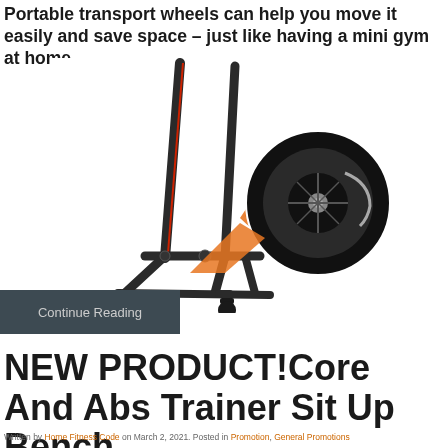Portable transport wheels can help you move it easily and save space – just like having a mini gym at home.
[Figure (photo): Photo of a fitness equipment frame with transport wheels, with an orange circle zooming in on the wheel detail]
Continue Reading
NEW PRODUCT!Core And Abs Trainer Sit Up Bench
Written by Home Fitness Code on March 2, 2021. Posted in Promotion, General Promotions